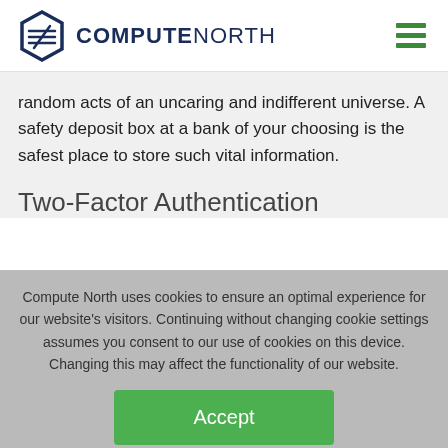COMPUTE NORTH
random acts of an uncaring and indifferent universe. A safety deposit box at a bank of your choosing is the safest place to store such vital information.
Two-Factor Authentication
Compute North uses cookies to ensure an optimal experience for our website's visitors. Continuing without changing cookie settings assumes you consent to our use of cookies on this device. Changing this may affect the functionality of our website.
Accept